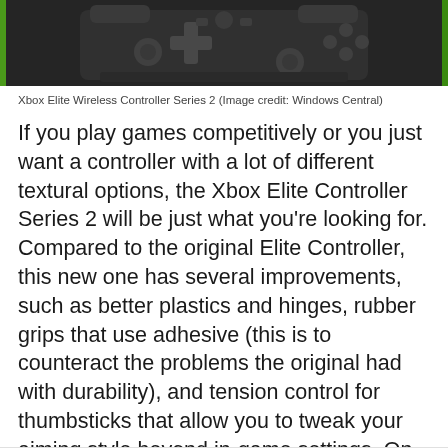[Figure (photo): Top portion of Xbox Elite Wireless Controller Series 2 against dark background, showing D-pad, buttons and triggers]
Xbox Elite Wireless Controller Series 2 (Image credit: Windows Central)
If you play games competitively or you just want a controller with a lot of different textural options, the Xbox Elite Controller Series 2 will be just what you're looking for. Compared to the original Elite Controller, this new one has several improvements, such as better plastics and hinges, rubber grips that use adhesive (this is to counteract the problems the original had with durability), and tension control for thumbsticks that allow you to tweak your aiming style beyond in-game settings. On top of this, the controller has Bluetooth connectivity for use with Project xCloud, and also a very large battery life of 40 hours on a full charge. Finally, all the benefits that the